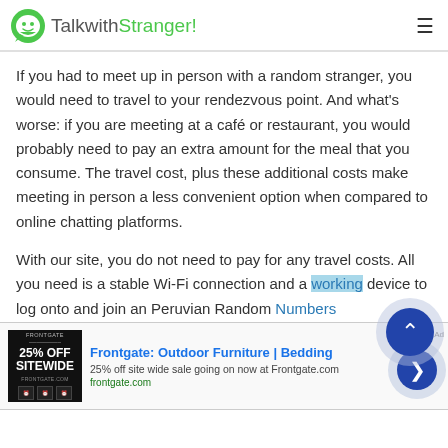TalkwithStranger!
If you had to meet up in person with a random stranger, you would need to travel to your rendezvous point. And what's worse: if you are meeting at a café or restaurant, you would probably need to pay an extra amount for the meal that you consume. The travel cost, plus these additional costs make meeting in person a less convenient option when compared to online chatting platforms.
With our site, you do not need to pay for any travel costs. All you need is a stable Wi-Fi connection and a working device to log onto and join an Peruvian Random Numbers
[Figure (screenshot): Advertisement banner for Frontgate: Outdoor Furniture | Bedding — 25% off site wide sale going on now at Frontgate.com]